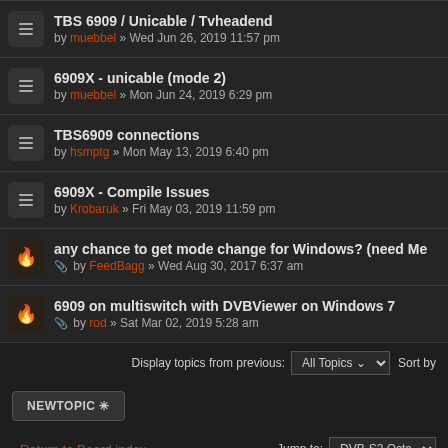TBS 6909 / Unicable / Tvheadend by muebbel » Wed Jun 26, 2019 11:57 pm
6909X - unicable (mode 2) by muebbel » Mon Jun 24, 2019 6:29 pm
TBS6909 connections by hsmptg » Mon May 13, 2019 6:40 pm
6909X - Compile Issues by Krobaruk » Fri May 03, 2019 11:59 pm
any chance to get mode change for Windows? (need Me... by FeedBagg » Wed Aug 30, 2017 6:37 am
6909 on multiswitch with DVBViewer on Windows 7 by rod » Sat Mar 02, 2019 5:28 am
Display topics from previous: All Topics Sort by
NEWTOPIC *
Return to Board index
Jump to: DVB-S2 Octa
WHO IS ONLINE
Users browsing this forum: No registered users and 1 guest